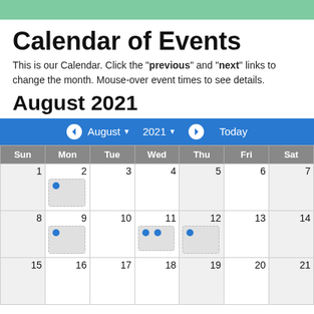Calendar of Events
This is our Calendar. Click the "previous" and "next" links to change the month. Mouse-over event times to see details.
August 2021
[Figure (other): Calendar navigation bar showing left arrow, August dropdown, 2021 dropdown, right arrow, and Today button on a blue background]
| Sun | Mon | Tue | Wed | Thu | Fri | Sat |
| --- | --- | --- | --- | --- | --- | --- |
| 1 | 2 [event] | 3 | 4 | 5 | 6 | 7 |
| 8 | 9 [event] | 10 | 11 [2 events] | 12 [event] | 13 | 14 |
| 15 | 16 | 17 | 18 | 19 | 20 | 21 |